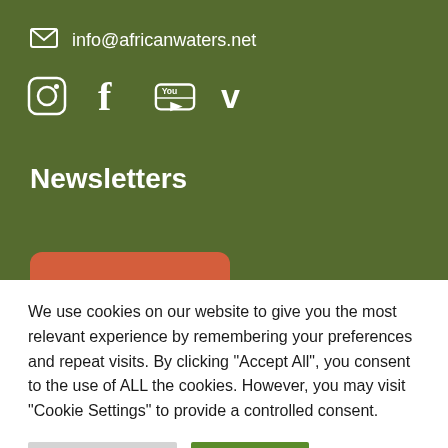info@africanwaters.net
[Figure (illustration): Social media icons: Instagram, Facebook, YouTube, Vimeo]
Newsletters
We use cookies on our website to give you the most relevant experience by remembering your preferences and repeat visits. By clicking "Accept All", you consent to the use of ALL the cookies. However, you may visit "Cookie Settings" to provide a controlled consent.
Cookie Settings  Accept All